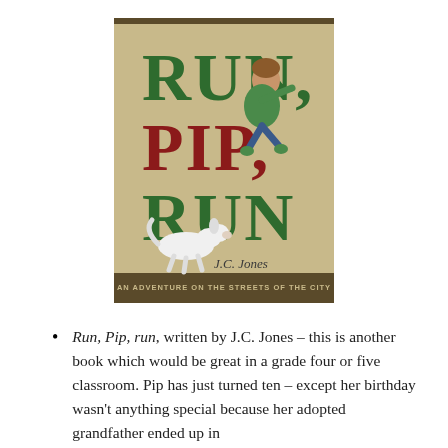[Figure (illustration): Book cover for 'Run, Pip, Run' by J.C. Jones. The cover has a tan/kraft paper background. Large letters spell out RUN, PIP, RUN in green and red alternating colors. An illustration shows a boy in a green hoodie running, and a white dog running below. Subtitle reads: AN ADVENTURE ON THE STREETS OF THE CITY.]
Run, Pip, run, written by J.C. Jones – this is another book which would be great in a grade four or five classroom. Pip has just turned ten – except her birthday wasn't anything special because her adopted grandfather ended up in